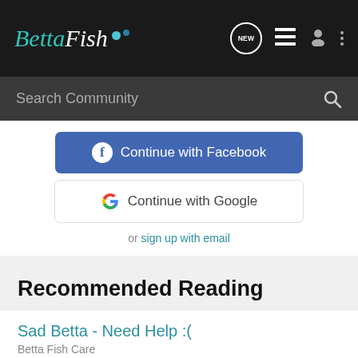[Figure (screenshot): BettaFish community website navigation bar with logo, NEW message icon, list icon, user icon, and more options icon]
Search Community
Continue with Facebook
Continue with Google
or sign up with email
Recommended Reading
Sad Betta - Need Help :(
Betta Fish Care
24  774